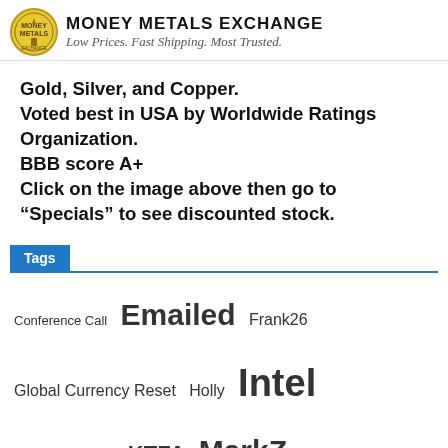Money Metals Exchange — Low Prices. Fast Shipping. Most Trusted.
Gold, Silver, and Copper. Voted best in USA by Worldwide Ratings Organization. BBB score A+ Click on the image above then go to "Specials" to see discounted stock.
Tags
Conference Call
Emailed
Frank26
Global Currency Reset
Holly
Intel
Judy Byington
KTFA
MarkZ
MilitiaMan
NESARA/GESARA
News
Nick Fleming
Pimpy